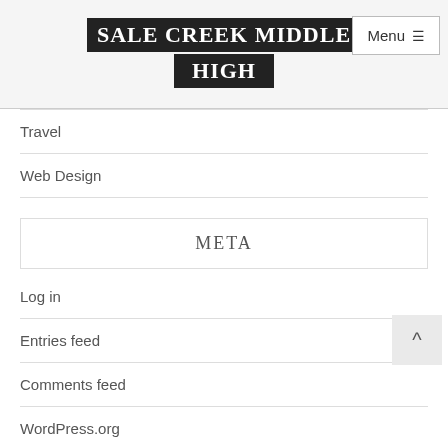SALE CREEK MIDDLE HIGH
Travel
Web Design
META
Log in
Entries feed
Comments feed
WordPress.org